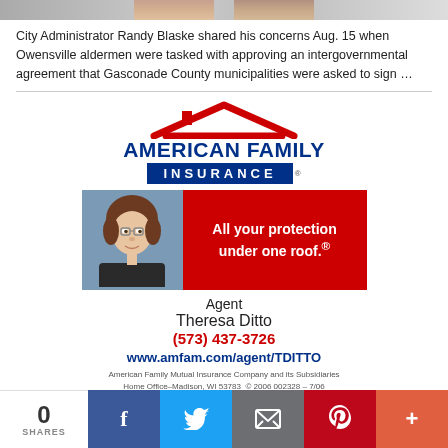[Figure (photo): Partial photo strip at top of page]
City Administrator Randy Blaske shared his concerns Aug. 15 when Owensville aldermen were tasked with approving an intergovernmental agreement that Gasconade County municipalities were asked to sign …
[Figure (illustration): American Family Insurance advertisement featuring logo with red roof graphic, blue banner reading INSURANCE, red banner with agent photo and text 'All your protection under one roof.®', Agent Theresa Ditto, phone (573) 437-3726, website www.amfam.com/agent/TDITTO, fine print about American Family Mutual Insurance Company]
[Figure (infographic): Social sharing bar at bottom: 0 SHARES, Facebook, Twitter, Email, Pinterest, More buttons]